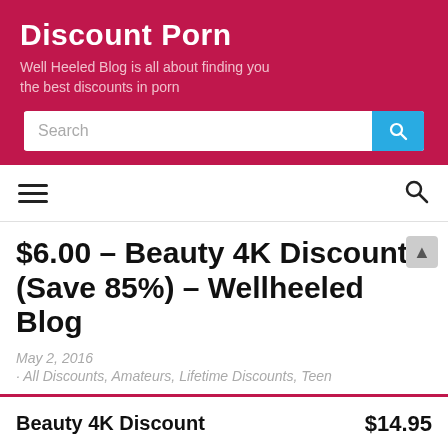Discount Porn
Well Heeled Blog is all about finding you the best discounts in porn
$6.00 – Beauty 4K Discount (Save 85%) – Wellheeled Blog
May 2, 2016
· All Discounts, Amateurs, Lifetime Discounts, Teen
Beauty 4K Discount    $14.95